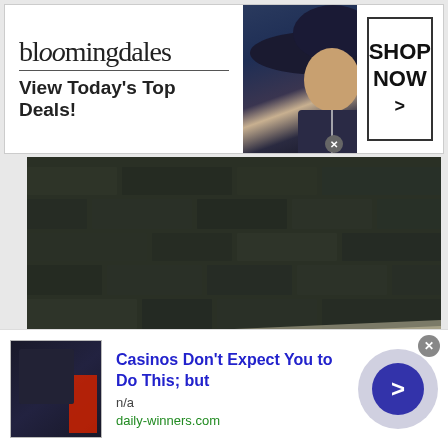[Figure (other): Bloomingdales advertisement banner with logo, model wearing wide-brim hat, tagline 'View Today's Top Deals!' and 'SHOP NOW >' button]
[Figure (photo): Dark photograph showing a stone wall in the upper portion and a dark lower portion with a diagonal light stripe across the middle, appears to be a car or road scene]
[Figure (other): Bottom advertisement: 'Casinos Don't Expect You to Do This; but' with small image, n/a text, daily-winners.com URL, and blue arrow circle button]